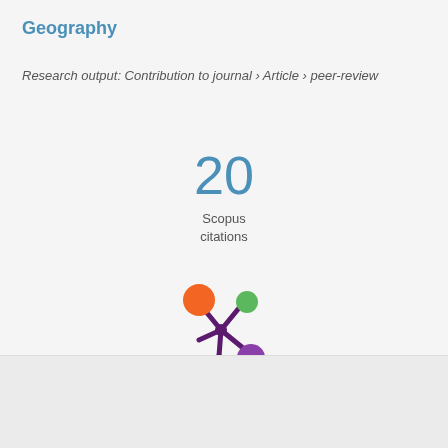Geography
Research output: Contribution to journal › Article › peer-review
20
Scopus citations
[Figure (logo): Altmetric/Scopus flower logo with orange, green, and purple circles on a dark purple stem]
Overview   Fingerprint